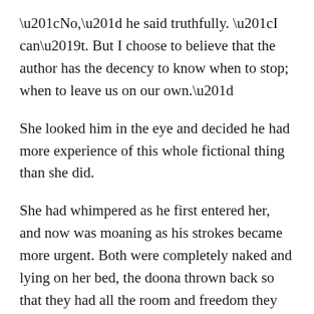“No,” he said truthfully. “I can’t. But I choose to believe that the author has the decency to know when to stop; when to leave us on our own.”
She looked him in the eye and decided he had more experience of this whole fictional thing than she did.
She had whimpered as he first entered her, and now was moaning as his strokes became more urgent. Both were completely naked and lying on her bed, the doona thrown back so that they had all the room and freedom they needed on the vastness of the queen sized sheets. He was on top, her legs splayed to either side of his weight. Parker had insisted the light stay on so that they could enjoy each other’s bodies and now they were